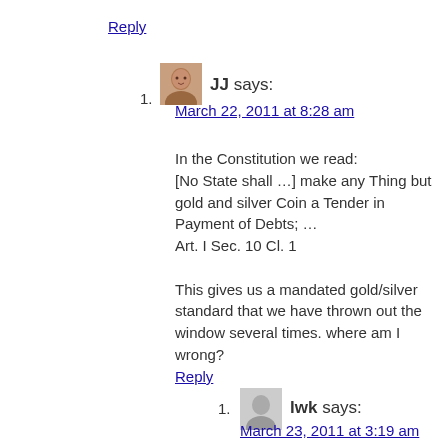Reply
JJ says:
March 22, 2011 at 8:28 am
In the Constitution we read:
[No State shall …] make any Thing but gold and silver Coin a Tender in Payment of Debts; …
Art. I Sec. 10 Cl. 1

This gives us a mandated gold/silver standard that we have thrown out the window several times. where am I wrong?
Reply
lwk says:
March 23, 2011 at 3:19 am
When we had some sort of